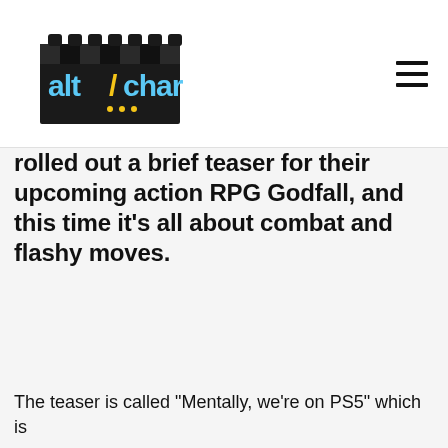AltChar logo and navigation menu
rolled out a brief teaser for their upcoming action RPG Godfall, and this time it's all about combat and flashy moves.
The teaser is called "Mentally, we're on PS5" which is